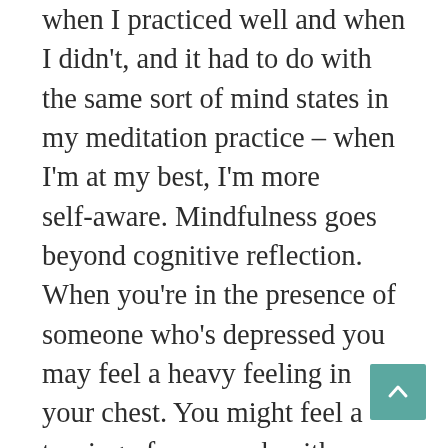when I practiced well and when I didn't, and it had to do with the same sort of mind states in my meditation practice – when I'm at my best, I'm more self-aware. Mindfulness goes beyond cognitive reflection. When you're in the presence of someone who's depressed you may feel a heavy feeling in your chest. You might feel a tensing of your neck with someone who's agitated. Being open to your own somatic markers and your own emotions is important– not only for you as a clinician, but for your patients. You bring your whole self to the care you provide. Mindfulness involves awareness of the physical, emotional, and cognitive–and also of your own mental state– are you tired or distracted, how well is your mind working